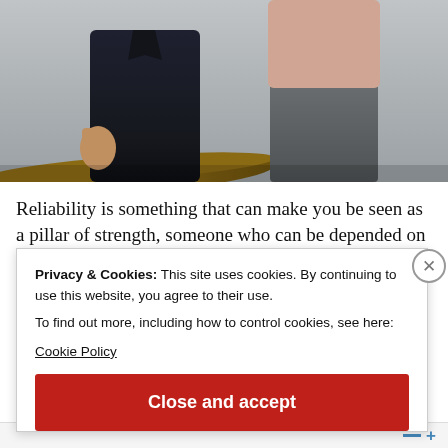[Figure (photo): Two people standing close together. One person wears a dark navy coat, the other wears a pink/beige fuzzy sweater and grey jeans. There is a wooden log or surface visible near the bottom left. The background is a neutral grey/muted tone.]
Reliability is something that can make you be seen as a pillar of strength, someone who can be depended on no matter the
Privacy & Cookies: This site uses cookies. By continuing to use this website, you agree to their use.
To find out more, including how to control cookies, see here:
Cookie Policy
Close and accept